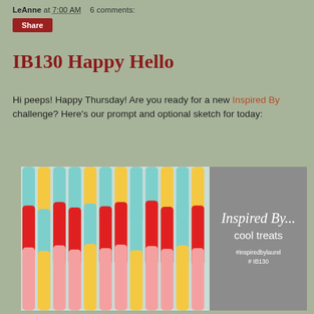LeAnne at 7:00 AM    6 comments:
Share
IB130 Happy Hello
Hi peeps!  Happy Thursday!  Are you ready for a new Inspired By challenge?  Here's our prompt and optional sketch for today:
[Figure (photo): Promotional image showing colorful popsicle sticks (teal, red, yellow, pink) hanging in rows on left side, with gray panel on right reading 'Inspired By... cool treats #inspiredbylaurel # IB130']